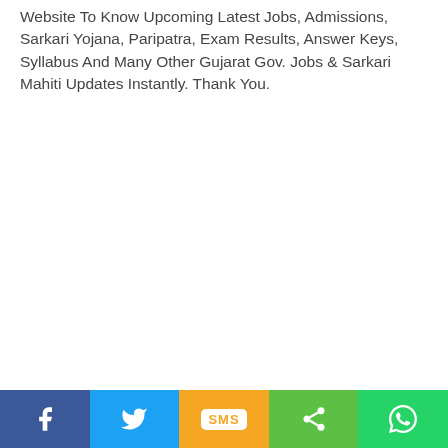Website To Know Upcoming Latest Jobs, Admissions, Sarkari Yojana, Paripatra, Exam Results, Answer Keys, Syllabus And Many Other Gujarat Gov. Jobs & Sarkari Mahiti Updates Instantly. Thank You.
[Figure (infographic): Social share bar with five buttons: Facebook (blue), Twitter (light blue), SMS (orange/yellow), Share (green), WhatsApp (green)]